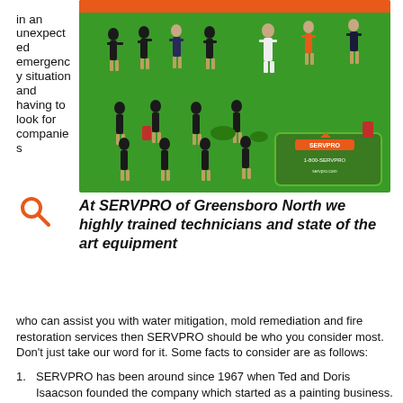in an unexpected emergency situation and having to look for companies
[Figure (photo): SERVPRO team photo showing multiple technicians in uniform on a green background with SERVPRO logo and 1-800-SERVPRO phone number]
At SERVPRO of Greensboro North we highly trained technicians and state of the art equipment
who can assist you with water mitigation, mold remediation and fire restoration services then SERVPRO should be who you consider most. Don't just take our word for it. Some facts to consider are as follows:
SERVPRO has been around since 1967 when Ted and Doris Isaacson founded the company which started as a painting business. Today, more than